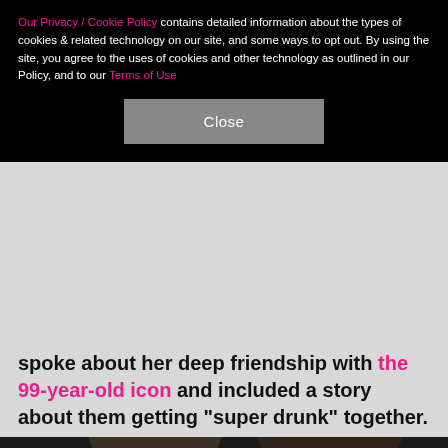Our Privacy / Cookie Policy contains detailed information about the types of cookies & related technology on our site, and some ways to opt out. By using the site, you agree to the uses of cookies and other technology as outlined in our Policy, and to our Terms of Use
Close
spoke about her deep friendship with the 99-year-old icon and included a story about them getting "super drunk" together.
[Figure (photo): Two women posing together; an older woman with short white/grey hair on the left and a younger brunette woman smiling on the right, against a dark background.]